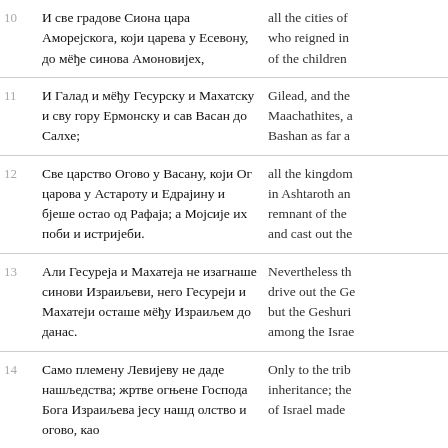10 И све градове Сиона цара Аморејскога, који царева у Есевону, до мёђе синова Амоновијех, | all the cities of who reigned in of the children
11 И Галад и мёђу Гесурску и Махатску и сву гору Ермонску и сав Васан до Салхе; | Gilead, and the Maachathites, a Bashan as far a
12 Све царство Огово у Васану, који Ог царова у Астароту и Едрајину и бjеше остао од Рафаjа; а Мојсије их поби и истрѝjеби. | all the kingdom in Ashtaroth an remnant of the and cast out the
13 Али Гесуреjа и Махатеjа не изагнаше синови Израиљеви, него Гесуреjи и Махатеjи осташе мёђу Израиљем до данас. | Nevertheless th drive out the Ge but the Geshuri among the Israe
14 Само племену Левиjеву не даде нашљедства; жртве огњене Господа Бога Израиљева jесу нашд олство и огово, као | Only to the trib inheritance; the of Israel made